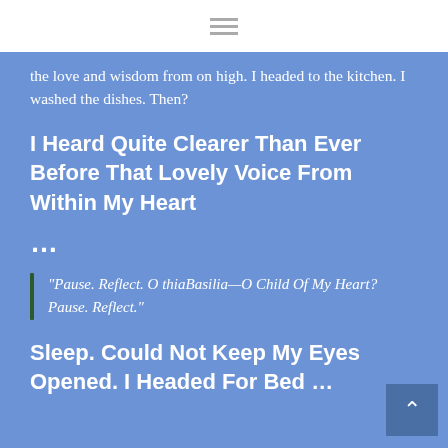the love and wisdom from on high. I headed to the kitchen. I washed the dishes. Then?
I Heard Quite Clearer Than Ever Before That Lovely Voice From Within My Heart
...
“Pause. Reflect. O thiaBasilia—O Child Of My Heart? Pause. Reflect.”
Sleep. Could Not Keep My Eyes Opened. I Headed For Bed ...